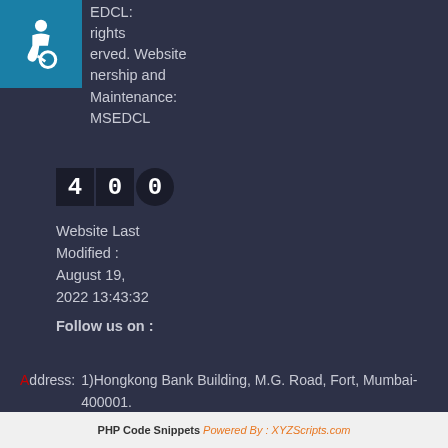[Figure (illustration): Accessibility icon — white wheelchair user on teal/blue square background]
EDCL:
rights
erved. Website
nership and
Maintenance:
MSEDCL
400
Website Last Modified :
August 19,
2022 13:43:32
Follow us on :
Address:   1)Hongkong Bank Building, M.G. Road, Fort, Mumbai-400001.
2)Prakashgad, Plot No. G-9, Anant Kanekar Marg Bandra (E), Mumbai-400051
Disclaimer and Policies   Sitemap
PHP Code Snippets  Powered By :  XYZScripts.com